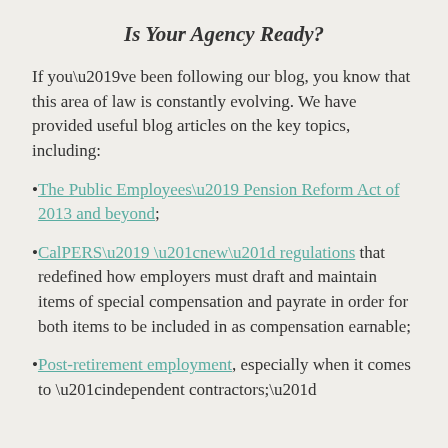Is Your Agency Ready?
If you’ve been following our blog, you know that this area of law is constantly evolving. We have provided useful blog articles on the key topics, including:
The Public Employees’ Pension Reform Act of 2013 and beyond;
CalPERS’ “new” regulations that redefined how employers must draft and maintain items of special compensation and payrate in order for both items to be included in as compensation earnable;
Post-retirement employment, especially when it comes to “independent contractors;”